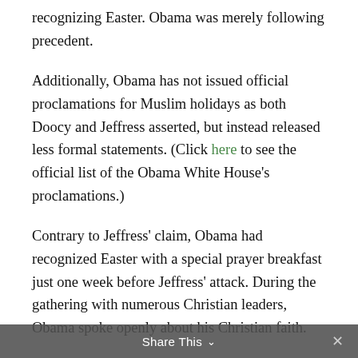recognizing Easter. Obama was merely following precedent.
Additionally, Obama has not issued official proclamations for Muslim holidays as both Doocy and Jeffress asserted, but instead released less formal statements. (Click here to see the official list of the Obama White House’s proclamations.)
Contrary to Jeffress’ claim, Obama had recognized Easter with a special prayer breakfast just one week before Jeffress’ attack. During the gathering with numerous Christian leaders, Obama spoke openly about his Christian faith.
“I wanted to host this breakfast for a simple reason,” Obama said, “because as busy as we are, as many tasks as pile up, during this season, we are
Share This